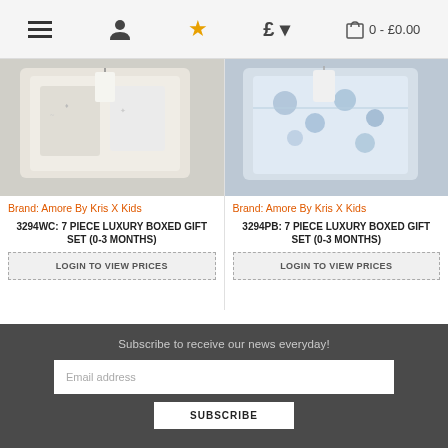Navigation header with menu, account, favourites, currency, and cart icons. Cart shows: 0 - £0.00
[Figure (photo): Baby gift set product image left - white/cream boxed gift set with tag]
Brand: Amore By Kris X Kids
3294WC: 7 PIECE LUXURY BOXED GIFT SET (0-3 MONTHS)
LOGIN TO VIEW PRICES
[Figure (photo): Baby gift set product image right - blue elephant print boxed gift set]
Brand: Amore By Kris X Kids
3294PB: 7 PIECE LUXURY BOXED GIFT SET (0-3 MONTHS)
LOGIN TO VIEW PRICES
Subscribe to receive our news everyday! Email address SUBSCRIBE